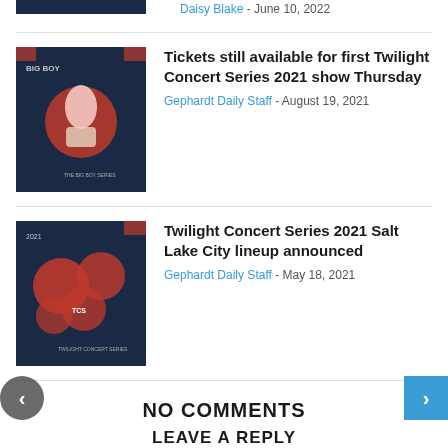Daisy Blake - June 10, 2022
[Figure (illustration): Thumbnail image for Big Boy concert - dark blue background with illustrated figure]
Tickets still available for first Twilight Concert Series 2021 show Thursday
Gephardt Daily Staff - August 19, 2021
[Figure (illustration): Thumbnail image for Twilight Concert Series 2021 - dark background with circular illustrated figures]
Twilight Concert Series 2021 Salt Lake City lineup announced
Gephardt Daily Staff - May 18, 2021
NO COMMENTS
LEAVE A REPLY
[Figure (logo): ES SOLAR logo - asterisk/star shape in gold/yellow with text ES SOLAR]